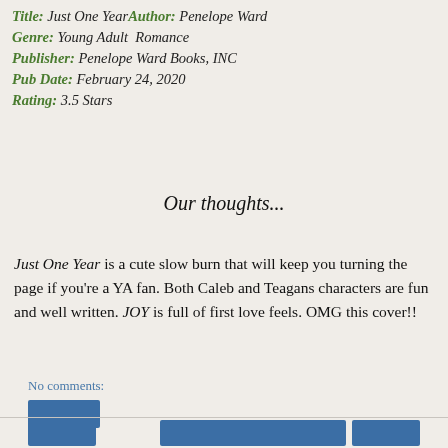Title: Just One Year Author: Penelope Ward Genre: Young Adult Romance Publisher: Penelope Ward Books, INC Pub Date: February 24, 2020 Rating: 3.5 Stars
Our thoughts...
Just One Year is a cute slow burn that will keep you turning the page if you’re a YA fan. Both Caleb and Teagans characters are fun and well written. JOY is full of first love feels. OMG this cover!!
No comments: